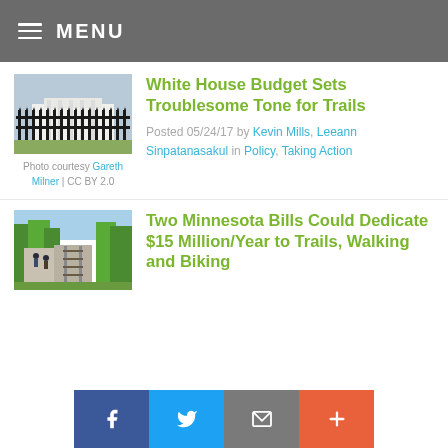MENU
White House Budget Sets Troublesome Tone for Trails
Posted 05/24/17 by Kevin Mills, Leeann Sinpatanasakul in Policy, Taking Action
Photo courtesy Gareth Milner | CC BY 2.0
[Figure (photo): White House iron fence]
[Figure (photo): Trail path alongside railway through green trees]
Two Minnesota Bills Could Dedicate $15 Million/Year to Trails, Walking and Biking